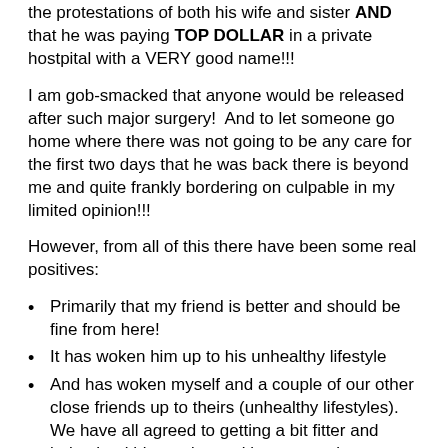the protestations of both his wife and sister AND that he was paying TOP DOLLAR in a private hostpital with a VERY good name!!!
I am gob-smacked that anyone would be released after such major surgery!  And to let someone go home where there was not going to be any care for the first two days that he was back there is beyond me and quite frankly bordering on culpable in my limited opinion!!!
However, from all of this there have been some real positives:
Primarily that my friend is better and should be fine from here!
It has woken him up to his unhealthy lifestyle
And has woken myself and a couple of our other close friends up to theirs (unhealthy lifestyles).  We have all agreed to getting a bit fitter and being healthier and to making some wiser decisions when it comes to our lifestyles